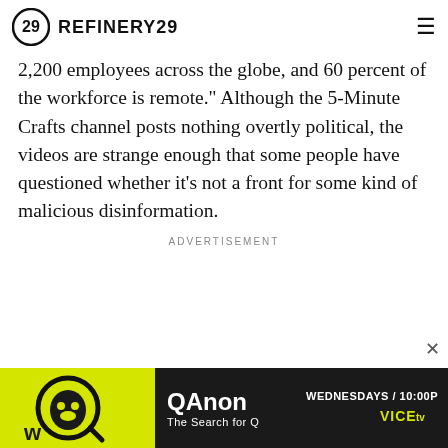REFINERY29
2,200 employees across the globe, and 60 percent of the workforce is remote." Although the 5-Minute Crafts channel posts nothing overtly political, the videos are strange enough that some people have questioned whether it's not a front for some kind of malicious disinformation.
ADVERTISEMENT
[Figure (other): QAnon VICE TV advertisement banner: yellow logo area on left with stylized Q face icon, dark background with 'QAnon' title in large white text, subtitle 'The Search for Q', and 'WEDNESDAYS / 10:00P' and VICE TV logo on right.]